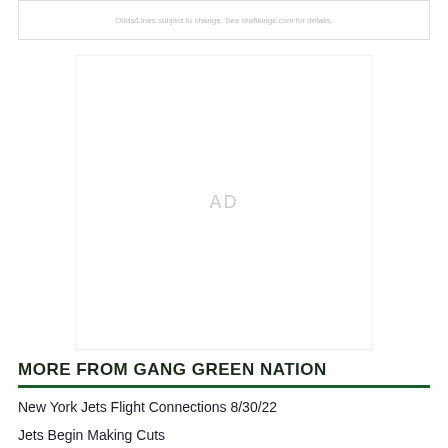Odds/Lines subject to change. See draftkings.com for details.
[Figure (other): Advertisement placeholder box with 'AD' text centered]
MORE FROM GANG GREEN NATION
New York Jets Flight Connections 8/30/22
Jets Begin Making Cuts